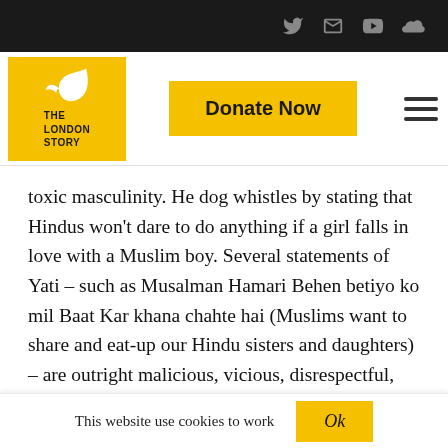The London Story — navigation bar with Donate Now button
toxic masculinity. He dog whistles by stating that Hindus won't dare to do anything if a girl falls in love with a Muslim boy. Several statements of Yati – such as Musalman Hamari Behen betiyo ko mil Baat Kar khana chahte hai (Muslims want to share and eat-up our Hindu sisters and daughters) – are outright malicious, vicious, disrespectful,
This website use cookies to work   Ok